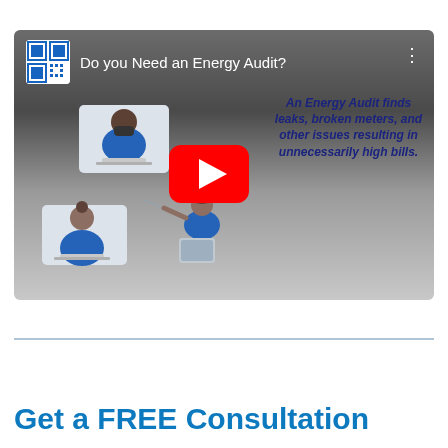[Figure (screenshot): YouTube video thumbnail for 'Do you Need an Energy Audit?' showing illustrations of people using laptops, a YouTube play button overlay, and text: 'An Energy Audit finds leaks, broken meters, and other issues resulting in unnecessarily high bills.' A QR code is shown in the top-left corner of the video player.]
Get a FREE Consultation